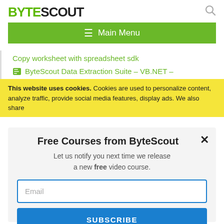BYTESCOUT
[Figure (screenshot): ByteScout website screenshot showing navigation, logo, green menu bar, cookie notice, and Free Courses from ByteScout modal with email subscription form]
Copy worksheet with spreadsheet sdk
ByteScout Data Extraction Suite – VB.NET –
This website uses cookies. Cookies are used to personalize content, analyze traffic, provide social media features, display ads. We also share
Free Courses from ByteScout
Let us notify you next time we release a new free video course.
Email
SUBSCRIBE